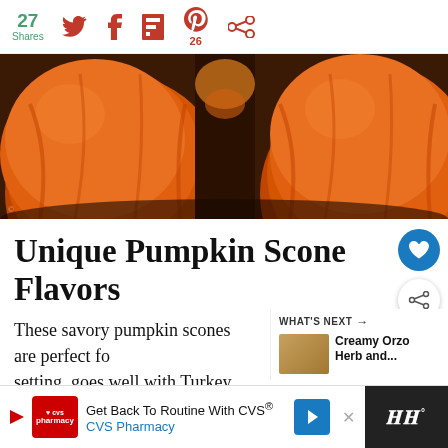27 Shares | Twitter | Facebook | Flipboard | Pinterest 26 | Social
[Figure (photo): Close-up photo of large orange pumpkins grouped together with dark background]
Unique Pumpkin Scone Flavors
These savory pumpkin scones are perfect fo... setting, goes well with Turkey, Chicken and even Chili... you will not be disappointed
WHAT'S NEXT → Creamy Orzo Herb and...
Get Back To Routine With CVS® CVS Pharmacy